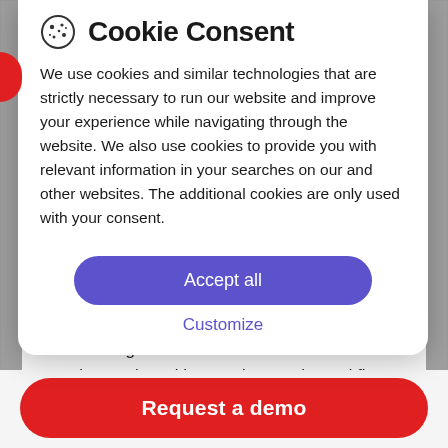Cookie Consent
We use cookies and similar technologies that are strictly necessary to run our website and improve your experience while navigating through the website. We also use cookies to provide you with relevant information in your searches on our and other websites. The additional cookies are only used with your consent.
Accept all
Customize
The Smart capability manages digital decisioning. It takes data about individuals who are interacting with a product or site and figures
Request a demo